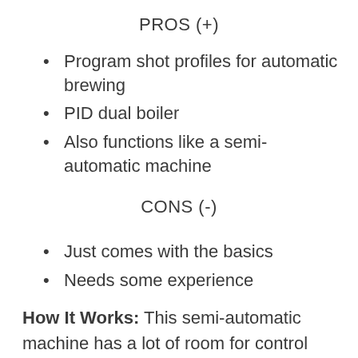PROS (+)
Program shot profiles for automatic brewing
PID dual boiler
Also functions like a semi-automatic machine
CONS (-)
Just comes with the basics
Needs some experience
How It Works: This semi-automatic machine has a lot of room for control without being too